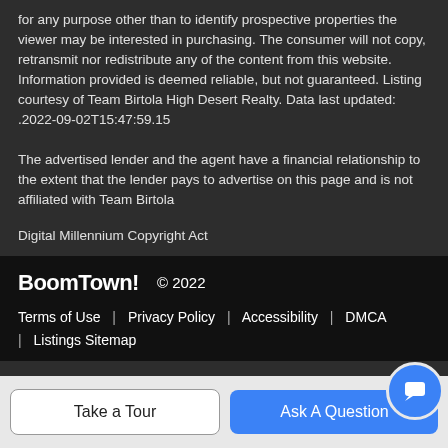for any purpose other than to identify prospective properties the viewer may be interested in purchasing. The consumer will not copy, retransmit nor redistribute any of the content from this website. Information provided is deemed reliable, but not guaranteed. Listing courtesy of Team Birtola High Desert Realty. Data last updated: .2022-09-02T15:47:59.15
The advertised lender and the agent have a financial relationship to the extent that the lender pays to advertise on this page and is not affiliated with Team Birtola
Digital Millennium Copyright Act
BoomTown! © 2022 | Terms of Use | Privacy Policy | Accessibility | DMCA | Listings Sitemap
Take a Tour
Ask A Question